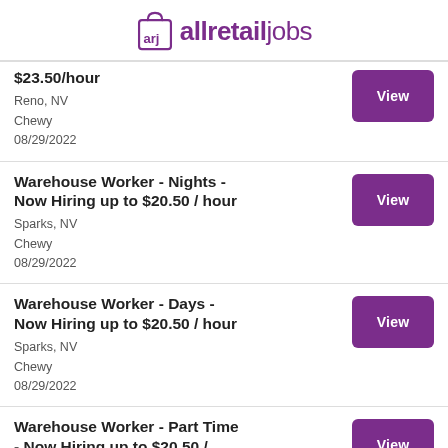allretailjobs
$23.50/hour
Reno, NV
Chewy
08/29/2022
Warehouse Worker - Nights - Now Hiring up to $20.50 / hour
Sparks, NV
Chewy
08/29/2022
Warehouse Worker - Days - Now Hiring up to $20.50 / hour
Sparks, NV
Chewy
08/29/2022
Warehouse Worker - Part Time - Now Hiring up to $20.50 /...